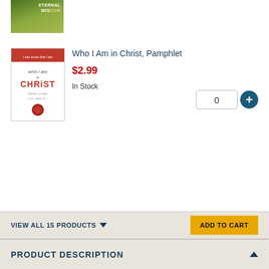[Figure (photo): Partial book cover visible at top - appears to be 'Eternal Wisdom' or similar title with green leaf design]
[Figure (photo): Book cover: 'Who I Am in Christ, Pamphlet' - white cover with red text and decorative script]
Who I Am in Christ, Pamphlet
$2.99
In Stock
[Figure (photo): Book cover: 'Knowing God's Will, Pamphlet' - blue cover with yellow road signs design]
Knowing God's Will, Pamphlet
$3.75
In Stock
VIEW ALL 15 PRODUCTS
ADD TO CART
PRODUCT DESCRIPTION